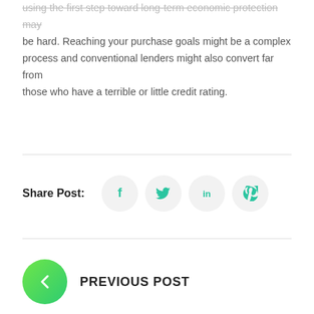using the first step toward long-term economic protection may be hard. Reaching your purchase goals might be a complex process and conventional lenders might also convert far from those who have a terrible or little credit rating.
Share Post:
[Figure (infographic): Social share buttons: Facebook, Twitter, LinkedIn, Pinterest — circular light grey buttons with teal icons]
PREVIOUS POST